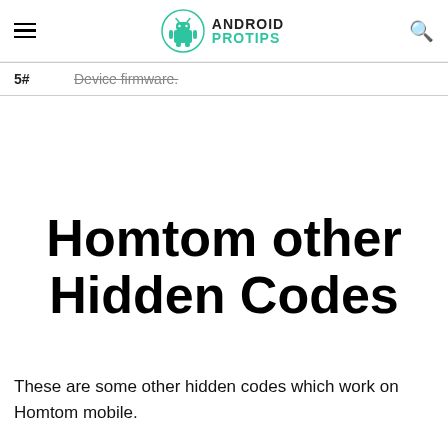Android Pro Tips
| # | Description |
| --- | --- |
| 5# | Device firmware. |
Homtom other Hidden Codes
These are some other hidden codes which work on Homtom mobile.